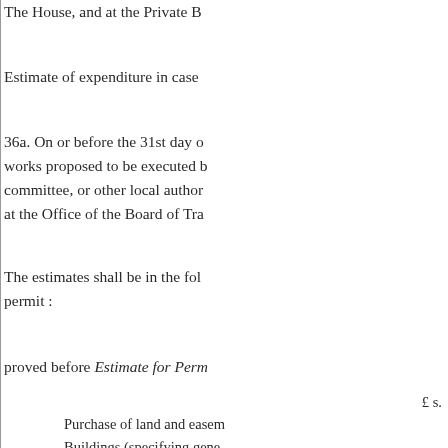The House, and at the Private B
Estimate of expenditure in case
36a. On or before the 31st day o works proposed to be executed b committee, or other local author at the Office of the Board of Tra
The estimates shall be in the fol permit :
proved before Estimate for Perm
£ s.
Purchase of land and easem
Buildings (specifying gene
Reservoirs, filter beds, &c.
Tunnels, embankments, da
Trunk mains and main sew
Other mains, pipes, sewers